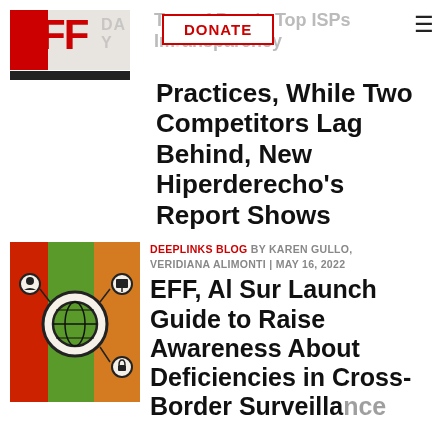EFF | DONATE | hamburger menu
Two of Peru's Top ISPs Implement Transparency Practices, While Two Competitors Lag Behind, New Hiperderecho's Report Shows
DEEPLINKS BLOG BY KAREN GULLO, VERIDIANA ALIMONTI | MAY 16, 2022
EFF, Al Sur Launch Guide to Raise Awareness About Deficiencies in Cross-Border Surveillance